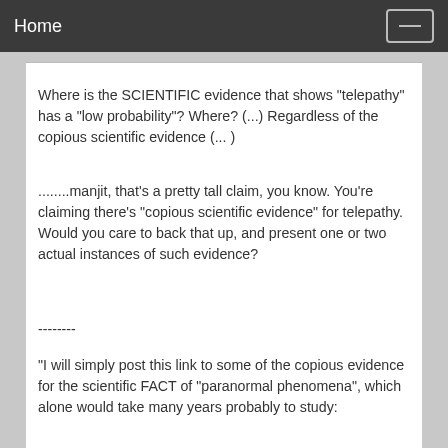Home
Where is the SCIENTIFIC evidence that shows "telepathy" has a "low probability"? Where? (...) Regardless of the copious scientific evidence (... )
........manjit, that's a pretty tall claim, you know. You're claiming there's "copious scientific evidence" for telepathy. Would you care to back that up, and present one or two actual instances of such evidence?
--------
"I will simply post this link to some of the copious evidence for the scientific FACT of "paranormal phenomena", which alone would take many years probably to study:
http://...